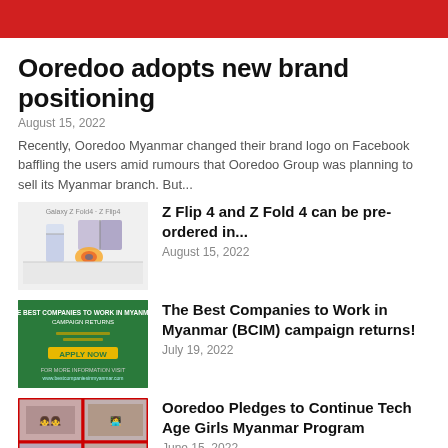[Figure (other): Red header bar at top of page]
Ooredoo adopts new brand positioning
August 15, 2022
Recently, Ooredoo Myanmar changed their brand logo on Facebook baffling the users amid rumours that Ooredoo Group was planning to sell its Myanmar branch. But...
[Figure (photo): Samsung Galaxy Z Fold 4 and Z Flip 4 product image showing folded phones]
Z Flip 4 and Z Fold 4 can be pre-ordered in...
August 15, 2022
[Figure (photo): Green banner for The Best Companies to Work in Myanmar (BCIM) campaign]
The Best Companies to Work in Myanmar (BCIM) campaign returns!
July 19, 2022
[Figure (photo): Grid of photos showing students in Ooredoo Tech Age Girls Myanmar Program]
Ooredoo Pledges to Continue Tech Age Girls Myanmar Program
June 15, 2022